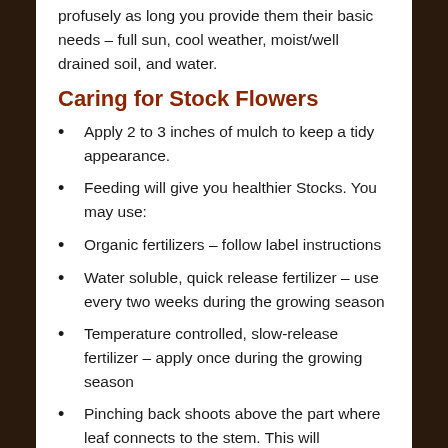profusely as long you provide them their basic needs – full sun, cool weather, moist/well drained soil, and water.
Caring for Stock Flowers
Apply 2 to 3 inches of mulch to keep a tidy appearance.
Feeding will give you healthier Stocks. You may use:
Organic fertilizers – follow label instructions
Water soluble, quick release fertilizer – use every two weeks during the growing season
Temperature controlled, slow-release fertilizer – apply once during the growing season
Pinching back shoots above the part where leaf connects to the stem. This will encourage growth